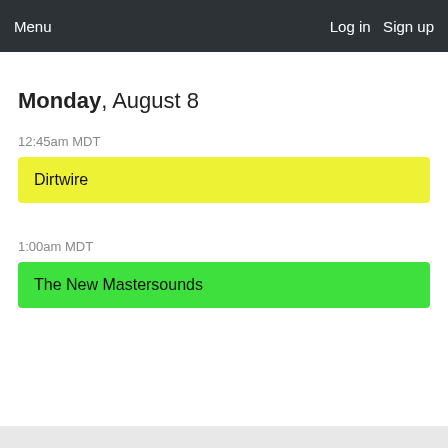Menu   Log in  Sign up
Monday, August 8
12:45am MDT
Dirtwire
1:00am MDT
The New Mastersounds